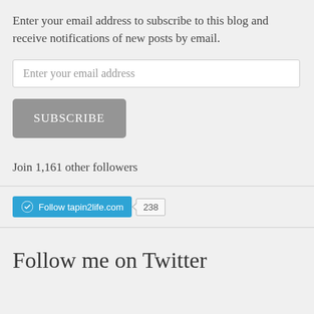Enter your email address to subscribe to this blog and receive notifications of new posts by email.
Enter your email address
SUBSCRIBE
Join 1,161 other followers
[Figure (screenshot): WordPress Follow button for tapin2life.com with follower count badge showing 238]
Follow me on Twitter